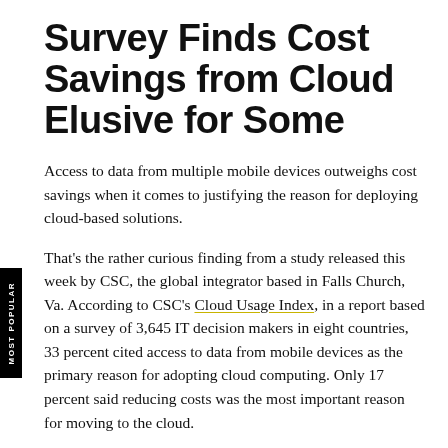Survey Finds Cost Savings from Cloud Elusive for Some
Access to data from multiple mobile devices outweighs cost savings when it comes to justifying the reason for deploying cloud-based solutions.
That's the rather curious finding from a study released this week by CSC, the global integrator based in Falls Church, Va. According to CSC's Cloud Usage Index, in a report based on a survey of 3,645 IT decision makers in eight countries, 33 percent cited access to data from mobile devices as the primary reason for adopting cloud computing. Only 17 percent said reducing costs was the most important reason for moving to the cloud.